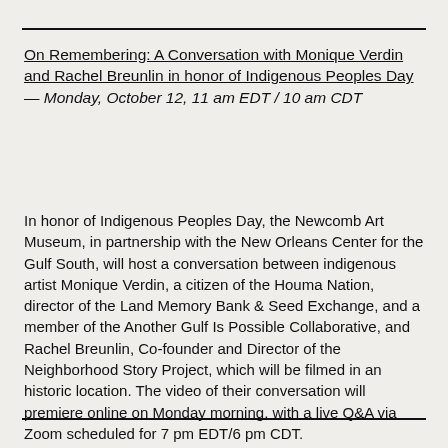On Remembering: A Conversation with Monique Verdin and Rachel Breunlin in honor of Indigenous Peoples Day — Monday, October 12, 11 am EDT / 10 am CDT
In honor of Indigenous Peoples Day, the Newcomb Art Museum, in partnership with the New Orleans Center for the Gulf South, will host a conversation between indigenous artist Monique Verdin, a citizen of the Houma Nation, director of the Land Memory Bank & Seed Exchange, and a member of the Another Gulf Is Possible Collaborative, and Rachel Breunlin, Co-founder and Director of the Neighborhood Story Project, which will be filmed in an historic location. The video of their conversation will premiere online on Monday morning, with a live Q&A via Zoom scheduled for 7 pm EDT/6 pm CDT.